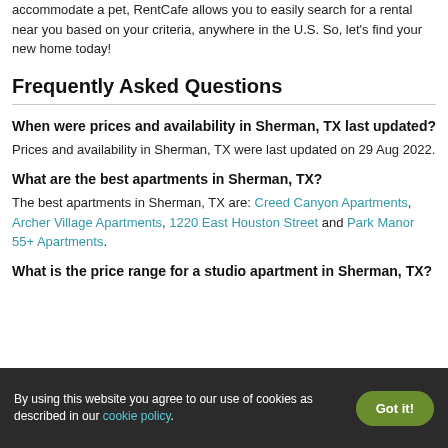accommodate a pet, RentCafe allows you to easily search for a rental near you based on your criteria, anywhere in the U.S. So, let's find your new home today!
Frequently Asked Questions
When were prices and availability in Sherman, TX last updated?
Prices and availability in Sherman, TX were last updated on 29 Aug 2022.
What are the best apartments in Sherman, TX?
The best apartments in Sherman, TX are: Creed Canyon Apartments, Archer Village Apartments, 1220 East Houston Street and Park Manor 55+ Apartments.
What is the price range for a studio apartment in Sherman, TX?
By using this website you agree to our use of cookies as described in our cookie policy.